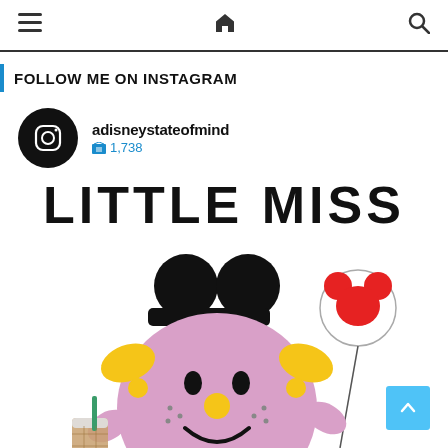Navigation bar with hamburger menu, home icon, search icon
FOLLOW ME ON INSTAGRAM
adisneystateofmind  1,738
[Figure (illustration): Little Miss character with Mickey Mouse ears hat, holding a Starbucks iced coffee drink and a Mickey Mouse balloon on a stick. The character is a round pink/lavender cartoon figure with yellow pigtails and a big smile.]